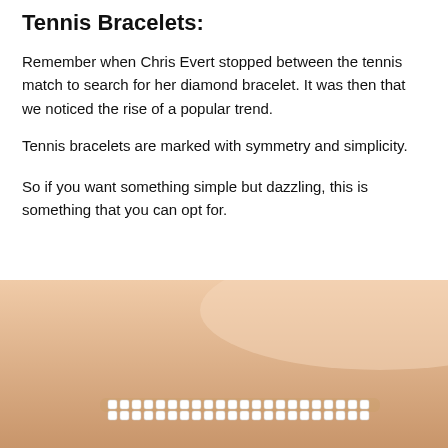Tennis Bracelets:
Remember when Chris Evert stopped between the tennis match to search for her diamond bracelet. It was then that we noticed the rise of a popular trend.
Tennis bracelets are marked with symmetry and simplicity.
So if you want something simple but dazzling, this is something that you can opt for.
[Figure (photo): Close-up photo of a wrist wearing a tennis bracelet with small diamonds/gems, skin tone background.]